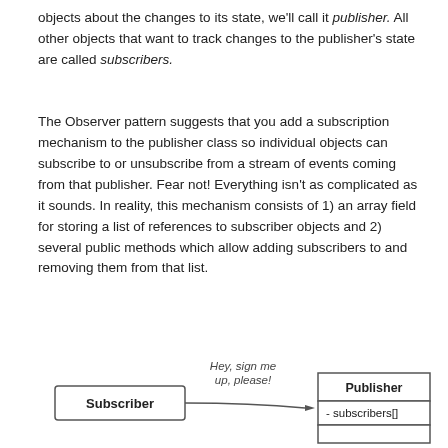objects about the changes to its state, we'll call it publisher. All other objects that want to track changes to the publisher's state are called subscribers.
The Observer pattern suggests that you add a subscription mechanism to the publisher class so individual objects can subscribe to or unsubscribe from a stream of events coming from that publisher. Fear not! Everything isn't as complicated as it sounds. In reality, this mechanism consists of 1) an array field for storing a list of references to subscriber objects and 2) several public methods which allow adding subscribers to and removing them from that list.
[Figure (other): UML-style diagram showing a Subscriber box on the left with an arrow pointing to a Publisher class box on the right. The arrow is labeled 'Hey, sign me up, please!' in italics. The Publisher box has a header 'Publisher' and a field '- subscribers[]' below it, with an additional empty row at the bottom.]